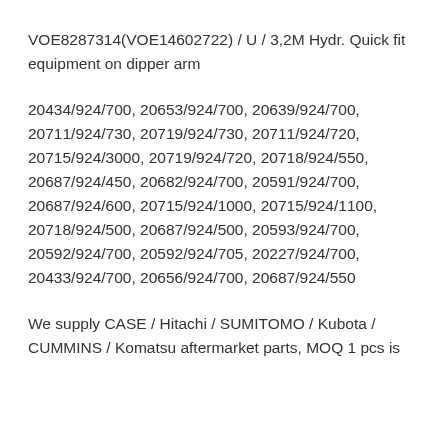VOE8287314(VOE14602722) / U / 3,2M Hydr. Quick fit equipment on dipper arm
20434/924/700, 20653/924/700, 20639/924/700, 20711/924/730, 20719/924/730, 20711/924/720, 20715/924/3000, 20719/924/720, 20718/924/550, 20687/924/450, 20682/924/700, 20591/924/700, 20687/924/600, 20715/924/1000, 20715/924/1100, 20718/924/500, 20687/924/500, 20593/924/700, 20592/924/700, 20592/924/705, 20227/924/700, 20433/924/700, 20656/924/700, 20687/924/550
We supply CASE / Hitachi / SUMITOMO / Kubota / CUMMINS / Komatsu aftermarket parts, MOQ 1 pcs is